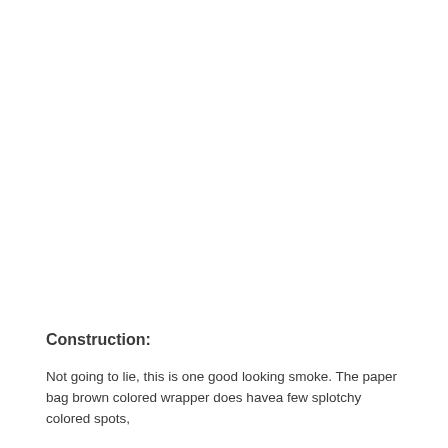Construction:
Not going to lie, this is one good looking smoke. The paper bag brown colored wrapper does havea few splotchy colored spots,